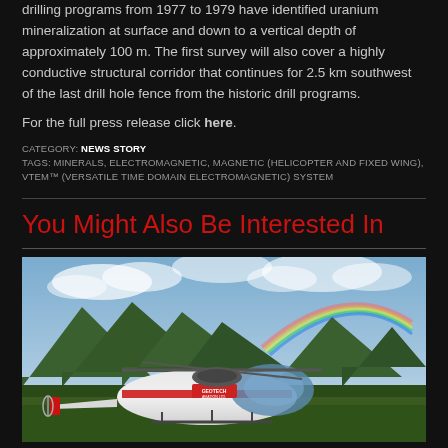drilling programs from 1977 to 1979 have identified uranium mineralization at surface and down to a vertical depth of approximately 100 m. The first survey will also cover a highly conductive structural corridor that continues for 2.5 km southwest of the last drill hole fence from the historic drill programs.
For the full press release click here.
CATEGORY: NEWS STORY
TAGS: MINERALS, ELECTROMAGNETIC, MAGNETIC (HELICOPTER AND FIXED WING), VTEM™ (VERSATILE TIME DOMAIN ELECTROMAGNETIC) SYSTEM
You Might Also Be Interested In
[Figure (photo): A red and white Geotech Aviation helicopter on the ground with mountains and a rainbow visible in the background.]